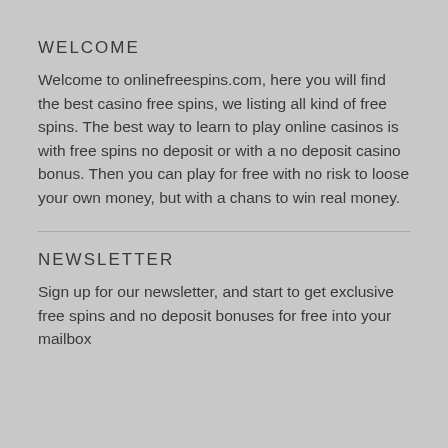WELCOME
Welcome to onlinefreespins.com, here you will find the best casino free spins, we listing all kind of free spins. The best way to learn to play online casinos is with free spins no deposit or with a no deposit casino bonus. Then you can play for free with no risk to loose your own money, but with a chans to win real money.
NEWSLETTER
Sign up for our newsletter, and start to get exclusive free spins and no deposit bonuses for free into your mailbox